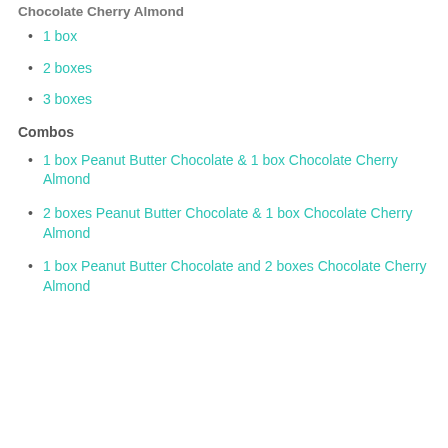Chocolate Cherry Almond
1 box
2 boxes
3 boxes
Combos
1 box Peanut Butter Chocolate & 1 box Chocolate Cherry Almond
2 boxes Peanut Butter Chocolate & 1 box Chocolate Cherry Almond
1 box Peanut Butter Chocolate and 2 boxes Chocolate Cherry Almond